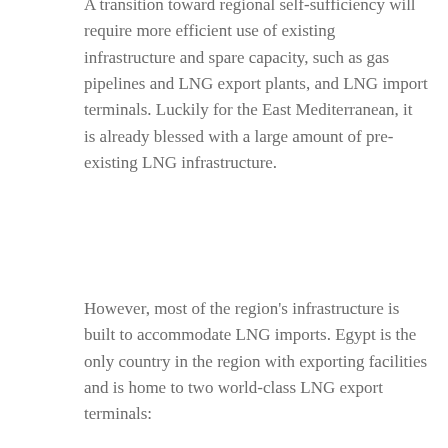A transition toward regional self-sufficiency will require more efficient use of existing infrastructure and spare capacity, such as gas pipelines and LNG export plants, and LNG import terminals. Luckily for the East Mediterranean, it is already blessed with a large amount of pre-existing LNG infrastructure.
However, most of the region's infrastructure is built to accommodate LNG imports. Egypt is the only country in the region with exporting facilities and is home to two world-class LNG export terminals:
First and foremost, the LNG terminals are managed by the Spanish Egyptian Gas Company (SEGAS) and the Egyptian Liquefied Natural Gas Company (ELNG). The first terminal is located in Damietta. This plant functions as a tolling facility, with a current capacity of 264.8 billion cubic feet per year (bcf/y) of LNG. The plant's natural gas supplies are provided by the Temsah fields, Ha'py Development Area, in addition to Scarab and Saffron fields in the West Delta. The terminal had been idle but Eni company signed in March 2020 several agreements with the Egyptian General Petroleum Corporation (EGPC), the Egyptian Natural Gas Holding